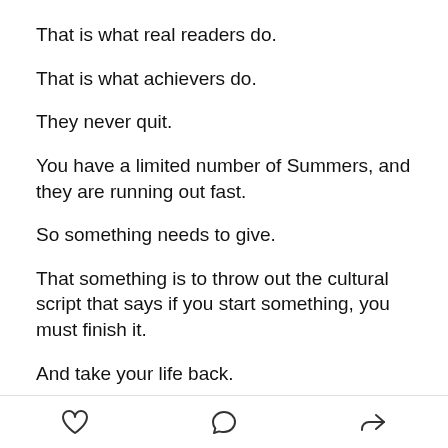That is what real readers do.
That is what achievers do.
They never quit.
You have a limited number of Summers, and they are running out fast.
So something needs to give.
That something is to throw out the cultural script that says if you start something, you must finish it.
And take your life back.
Place it back under your dominion, not the cultures,
[heart icon] [comment icon] [share icon]